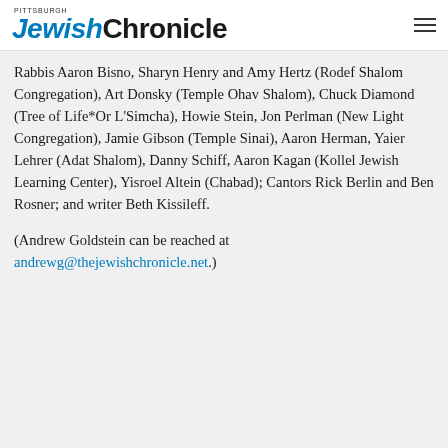Pittsburgh JewishChronicle
Rabbis Aaron Bisno, Sharyn Henry and Amy Hertz (Rodef Shalom Congregation), Art Donsky (Temple Ohav Shalom), Chuck Diamond (Tree of Life*Or L'Simcha), Howie Stein, Jon Perlman (New Light Congregation), Jamie Gibson (Temple Sinai), Aaron Herman, Yaier Lehrer (Adat Shalom), Danny Schiff, Aaron Kagan (Kollel Jewish Learning Center), Yisroel Altein (Chabad); Cantors Rick Berlin and Ben Rosner; and writer Beth Kissileff.
(Andrew Goldstein can be reached at andrewg@thejewishchronicle.net.)